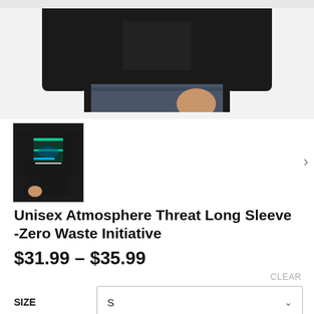[Figure (photo): Product photo of a man wearing a black long sleeve shirt, cropped to show torso with hand in pocket of jeans. Small text on shirt reads 'Less Trash More Life'.]
[Figure (photo): Thumbnail image of the full product — black long sleeve shirt with environmental graphic design featuring ocean/shark imagery and text.]
Unisex Atmosphere Threat Long Sleeve -Zero Waste Initiative
$31.99 – $35.99
CLEAR
SIZE
S